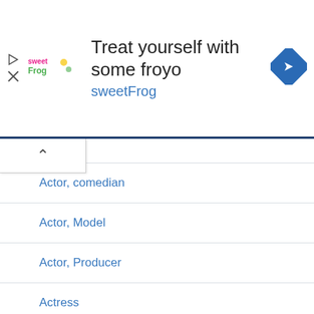[Figure (screenshot): Advertisement banner for sweetFrog frozen yogurt. Shows the sweetFrog logo on the left, the text 'Treat yourself with some froyo' and 'sweetFrog' in blue, and a blue navigation/directions diamond icon on the right.]
Actor
Actor, comedian
Actor, Model
Actor, Producer
Actress
Actress, Model
Artist
Athlete
Author
basketball player
Blogger